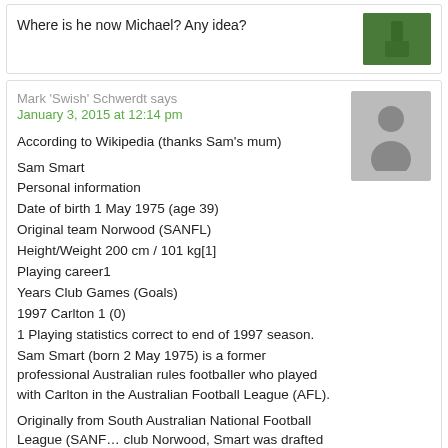Where is he now Michael? Any idea?
[Figure (photo): Small green sports field photo thumbnail]
Mark 'Swish' Schwerdt says
January 3, 2015 at 12:14 pm
[Figure (illustration): Grey placeholder avatar silhouette]
According to Wikipedia (thanks Sam's mum)

Sam Smart
Personal information
Date of birth 1 May 1975 (age 39)
Original team Norwood (SANFL)
Height/Weight 200 cm / 101 kg[1]
Playing career1
Years Club Games (Goals)
1997 Carlton 1 (0)
1 Playing statistics correct to end of 1997 season.
Sam Smart (born 2 May 1975) is a former professional Australian rules footballer who played with Carlton in the Australian Football League (AFL).

Originally from South Australian National Football League (SANFL) club Norwood, Smart was drafted by Carlton at the 1994 AFL Dr… remained in South Australia to complete his medical studies, mo… to Victoria at the end of the 1995 AFL season.